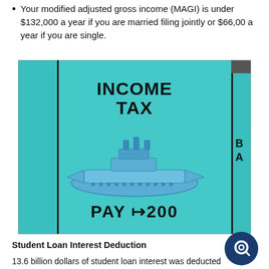Your modified adjusted gross income (MAGI) is under $132,000 a year if you are married filing jointly or $66,00 a year if you are single.
[Figure (photo): A Monopoly board game 'Income Tax' square showing the text 'INCOME TAX' and 'PAY M200', with a blue metallic battleship game piece placed on the teal/cyan colored square. Partial text of adjacent squares visible: 'ING DAD' on left and 'B A' on right.]
Student Loan Interest Deduction
13.6 billion dollars of student loan interest was deducted
[Figure (logo): Dark blue circular logo with a white letter Q or camera-like icon in the center.]